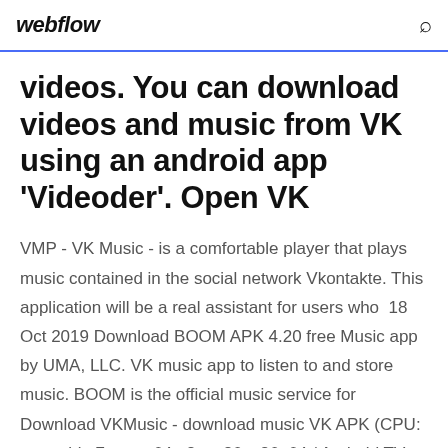webflow
videos. You can download videos and music from VK using an android app 'Videoder'. Open VK
VMP - VK Music - is a comfortable player that plays music contained in the social network Vkontakte. This application will be a real assistant for users who  18 Oct 2019 Download BOOM APK 4.20 free Music app by UMA, LLC. VK music app to listen to and store music. BOOM is the official music service for Download VKMusic - download music VK APK (CPU: armeabi-v7a, arm64-v8a, x86, x86_64 / Android TV, Tablet / Android: 4.4, 5.0, 6.0, 7.0, 8.0, 9.0, 10), just  Download VK Music program